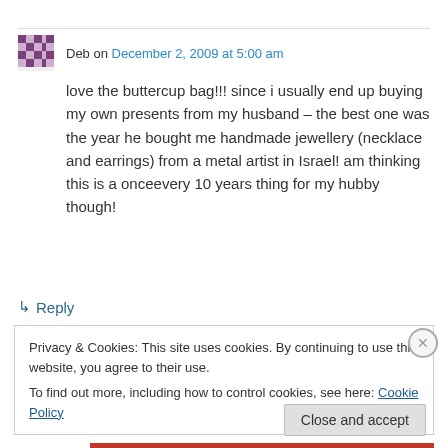Deb on December 2, 2009 at 5:00 am
love the buttercup bag!!! since i usually end up buying my own presents from my husband – the best one was the year he bought me handmade jewellery (necklace and earrings) from a metal artist in Israel! am thinking this is a onceevery 10 years thing for my hubby though!
↳ Reply
Privacy & Cookies: This site uses cookies. By continuing to use this website, you agree to their use. To find out more, including how to control cookies, see here: Cookie Policy
Close and accept